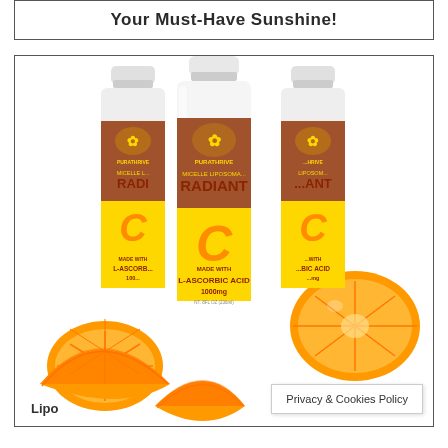Your Must-Have Sunshine!
[Figure (photo): Three bottles of PuraThrive Micelle Liposomal Radiant C made with L-Ascorbic Acid 1000mg, arranged side by side with orange fruit slices in front]
Privacy & Cookies Policy
Lipo